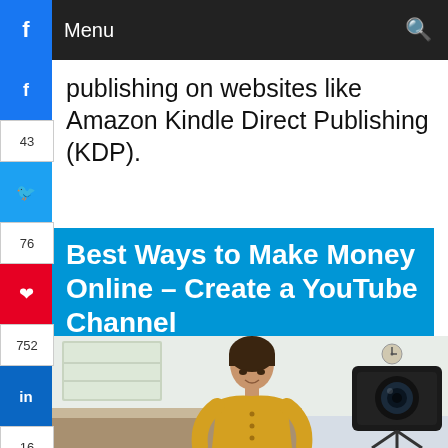f  Menu  🔍
publishing on websites like Amazon Kindle Direct Publishing (KDP).
Best Ways to Make Money Online – Create a YouTube Channel
[Figure (photo): A smiling woman in a yellow sweater standing in a kitchen, recording herself with a camera on a tripod in the foreground]